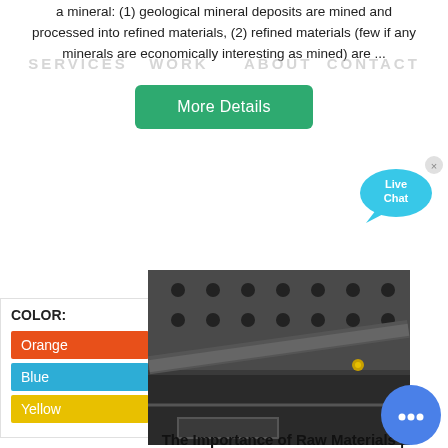a mineral: (1) geological mineral deposits are mined and processed into refined materials, (2) refined materials (few if any minerals are economically interesting as mined) are ...
SERVICES   WORK     ABOUT  CONTACT
[Figure (other): More Details button - green rounded rectangle button with white text]
[Figure (other): Live Chat bubble icon in cyan/teal color with 'Live Chat' text and an X close button]
COLOR:
Orange
Blue
Yellow
[Figure (photo): Industrial machine component - dark metal screen/sieve with holes and a metal bracket/bar across it, industrial setting]
The Importance of Raw Materials |
[Figure (other): Live chat circle icon (blue circle with speech bubble/dots)]